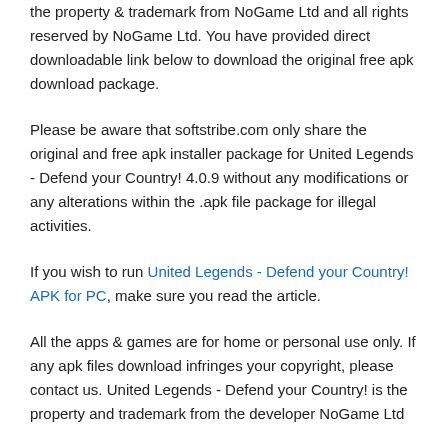the property & trademark from NoGame Ltd and all rights reserved by NoGame Ltd. You have provided direct downloadable link below to download the original free apk download package.
Please be aware that softstribe.com only share the original and free apk installer package for United Legends - Defend your Country! 4.0.9 without any modifications or any alterations within the .apk file package for illegal activities.
If you wish to run United Legends - Defend your Country! APK for PC, make sure you read the article.
All the apps & games are for home or personal use only. If any apk files download infringes your copyright, please contact us. United Legends - Defend your Country! is the property and trademark from the developer NoGame Ltd